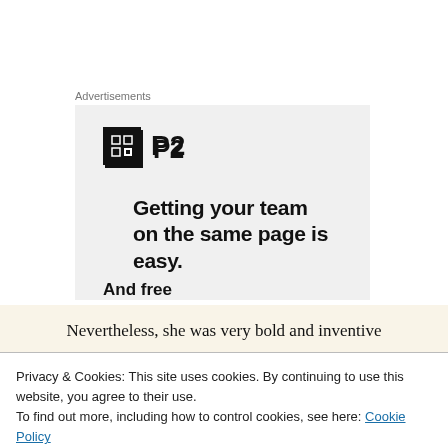Advertisements
[Figure (other): P2 advertisement banner showing a square logo with 'P2' text beside it, followed by bold text reading 'Getting your team on the same page is easy.' and partially visible subtext below]
Nevertheless, she was very bold and inventive
Privacy & Cookies: This site uses cookies. By continuing to use this website, you agree to their use.
To find out more, including how to control cookies, see here: Cookie Policy
Close and accept